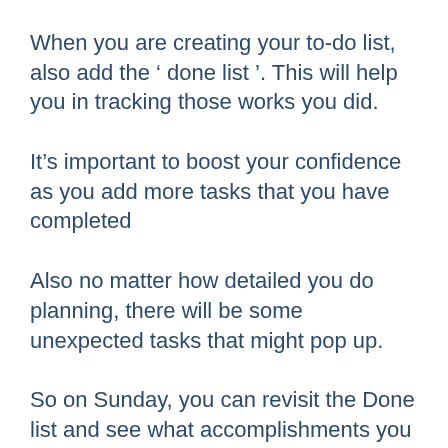When you are creating your to-do list, also add the ‘ done list ’. This will help you in tracking those works you did.
It’s important to boost your confidence as you add more tasks that you have completed
Also no matter how detailed you do planning, there will be some unexpected tasks that might pop up.
So on Sunday, you can revisit the Done list and see what accomplishments you did in your whole week.